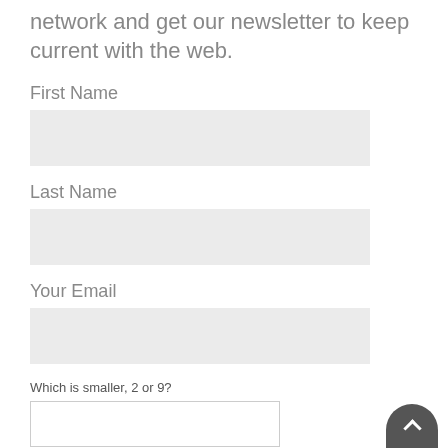network and get our newsletter to keep current with the web.
First Name
Last Name
Your Email
Which is smaller, 2 or 9?
Send